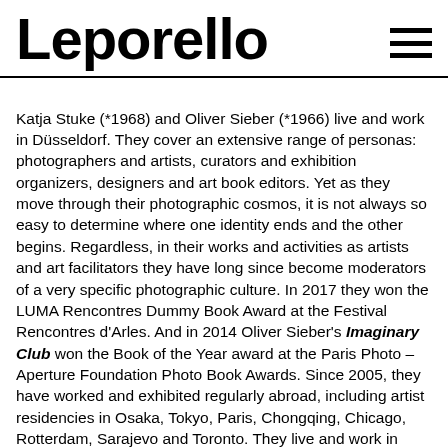Leporello
Katja Stuke (*1968) and Oliver Sieber (*1966) live and work in Düsseldorf. They cover an extensive range of personas: photographers and artists, curators and exhibition organizers, designers and art book editors. Yet as they move through their photographic cosmos, it is not always so easy to determine where one identity ends and the other begins. Regardless, in their works and activities as artists and art facilitators they have long since become moderators of a very specific photographic culture. In 2017 they won the LUMA Rencontres Dummy Book Award at the Festival Rencontres d'Arles. And in 2014 Oliver Sieber's Imaginary Club won the Book of the Year award at the Paris Photo – Aperture Foundation Photo Book Awards. Since 2005, they have worked and exhibited regularly abroad, including artist residencies in Osaka, Tokyo, Paris, Chongqing, Chicago, Rotterdam, Sarajevo and Toronto. They live and work in Düsseldorf, Germany
Facebook, Instagram
Iscriviti alla nostra newsletter